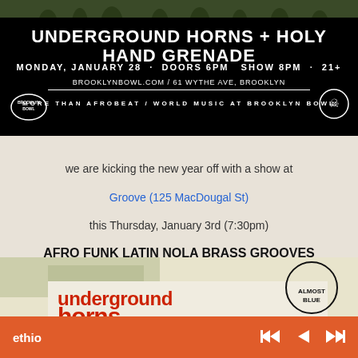[Figure (photo): Concert poster for Underground Horns + Holy Hand Grenade at Brooklyn Bowl. Black background with white text: 'UNDERGROUND HORNS + HOLY HAND GRENADE', 'MONDAY, JANUARY 28 · DOORS 6PM SHOW 8PM · 21+', 'BROOKLYNBOWL.COM / 61 WYTHE AVE, BROOKLYN', 'MORE THAN AFROBEAT / WORLD MUSIC AT BROOKLYN BOWL'. Brooklyn Bowl logo on left, skull logo on right. Band member silhouettes at the top.]
we are kicking the new year off with a show at Groove (125 MacDougal St) this Thursday, January 3rd (7:30pm) AFRO FUNK LATIN NOLA BRASS GROOVES & BEYOND only $5 cover
[Figure (photo): Underground Horns band poster/album art showing red text 'underground horns' and partial image of a person with an afro hairstyle alongside a black and white illustrated face logo.]
ethio